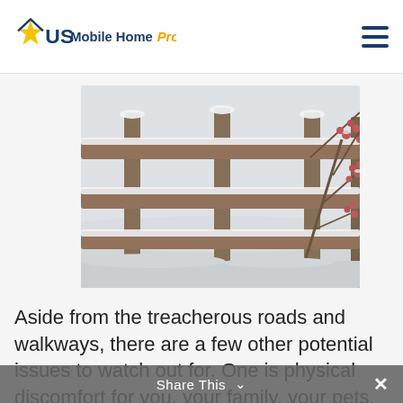US Mobile Home Pros
[Figure (photo): Winter scene: snow-covered wooden fence rails with red berry branches in the foreground, white snowy background]
Aside from the treacherous roads and walkways, there are a few other potential issues to watch out for. One is physical discomfort for you, your family, your pets, and the movers. Another is that the days will be shorter so you could have less light to work with
Share This ∨  ×